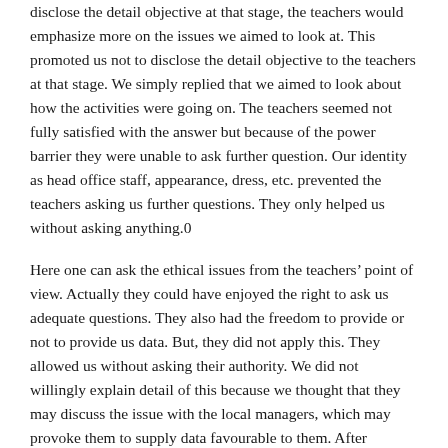disclose the detail objective at that stage, the teachers would emphasize more on the issues we aimed to look at. This promoted us not to disclose the detail objective to the teachers at that stage. We simply replied that we aimed to look about how the activities were going on. The teachers seemed not fully satisfied with the answer but because of the power barrier they were unable to ask further question. Our identity as head office staff, appearance, dress, etc. prevented the teachers asking us further questions. They only helped us without asking anything.0
Here one can ask the ethical issues from the teachers’ point of view. Actually they could have enjoyed the right to ask us adequate questions. They also had the freedom to provide or not to provide us data. But, they did not apply this. They allowed us without asking their authority. We did not willingly explain detail of this because we thought that they may discuss the issue with the local managers, which may provoke them to supply data favourable to them. After completing classroom observation, we interviewed the teacher and other staff in the field. At this stage, we informed all of them about the detail of our objectives.